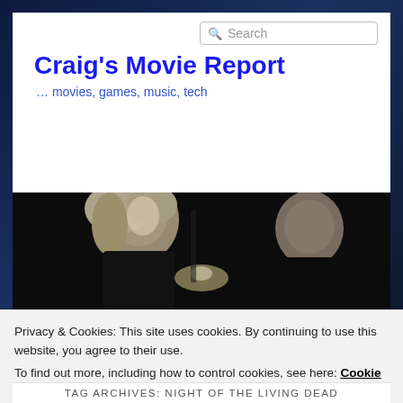Craig's Movie Report
... movies, games, music, tech
[Figure (photo): Black and white movie still showing a blonde woman on the left and a man on the right in dramatic lighting]
Privacy & Cookies: This site uses cookies. By continuing to use this website, you agree to their use.
To find out more, including how to control cookies, see here: Cookie Policy
Close and accept
TAG ARCHIVES: NIGHT OF THE LIVING DEAD